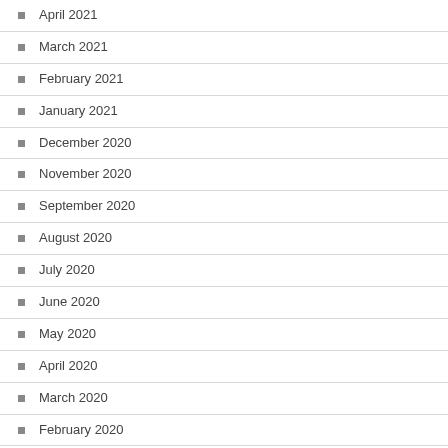April 2021
March 2021
February 2021
January 2021
December 2020
November 2020
September 2020
August 2020
July 2020
June 2020
May 2020
April 2020
March 2020
February 2020
December 2019